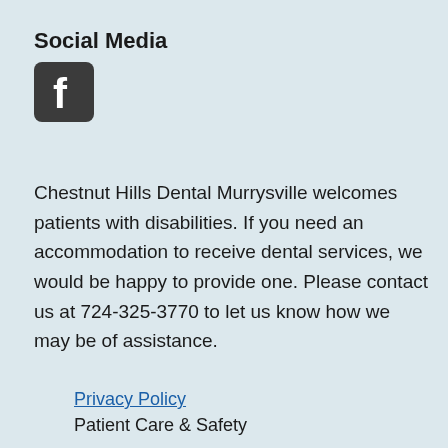Social Media
[Figure (logo): Facebook icon — rounded square with white 'f' logo on dark background]
Chestnut Hills Dental Murrysville welcomes patients with disabilities. If you need an accommodation to receive dental services, we would be happy to provide one. Please contact us at 724-325-3770 to let us know how we may be of assistance.
Privacy Policy
Patient Care & Safety